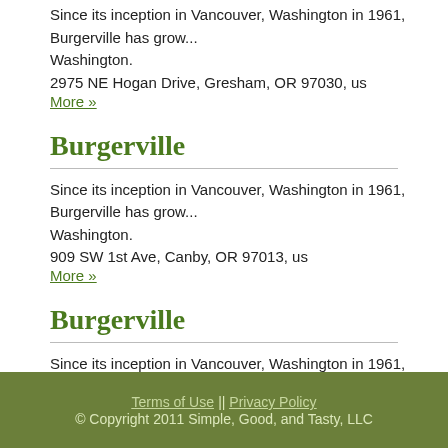Since its inception in Vancouver, Washington in 1961, Burgerville has grown... Washington.
2975 NE Hogan Drive, Gresham, OR 97030, us
More »
Burgerville
Since its inception in Vancouver, Washington in 1961, Burgerville has grown... Washington.
909 SW 1st Ave, Canby, OR 97013, us
More »
Burgerville
Since its inception in Vancouver, Washington in 1961, Burgerville has grown... Washington.
1245 NW 185th Ave, Aloha, OR 97006, us
More »
« first ‹ previous 1 2 3 4 ne
[Figure (other): RSS feed icon]
Terms of Use || Privacy Policy © Copyright 2011 Simple, Good, and Tasty, LLC